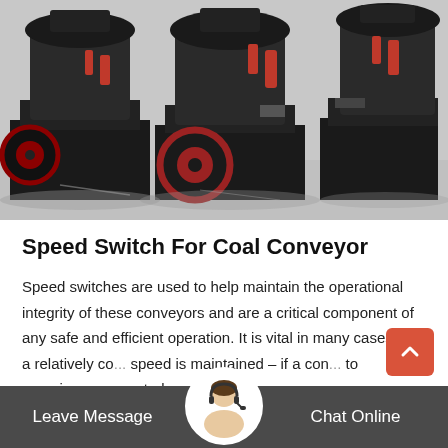[Figure (photo): Industrial cone crushers / mining machinery, large black metal equipment with red accents, multiple units on a factory floor with a light grey concrete background.]
Speed Switch For Coal Conveyor
Speed switches are used to help maintain the operational integrity of these conveyors and are a critical component of any safe and efficient operation. It is vital in many cases that a relatively co... speed is maintained – if a con... to experience unwanted …